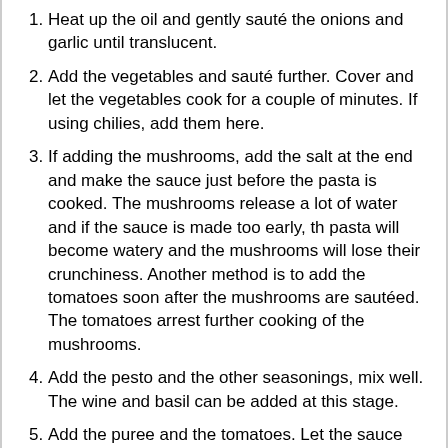Heat up the oil and gently sauté the onions and garlic until translucent.
Add the vegetables and sauté further. Cover and let the vegetables cook for a couple of minutes. If using chilies, add them here.
If adding the mushrooms, add the salt at the end and make the sauce just before the pasta is cooked. The mushrooms release a lot of water and if the sauce is made too early, th pasta will become watery and the mushrooms will lose their crunchiness. Another method is to add the tomatoes soon after the mushrooms are sautéed. The tomatoes arrest further cooking of the mushrooms.
Add the pesto and the other seasonings, mix well. The wine and basil can be added at this stage.
Add the puree and the tomatoes. Let the sauce simmer for a few minutes.
Always add the pasta just before serving so that the dish remains saucy and the pasta does not